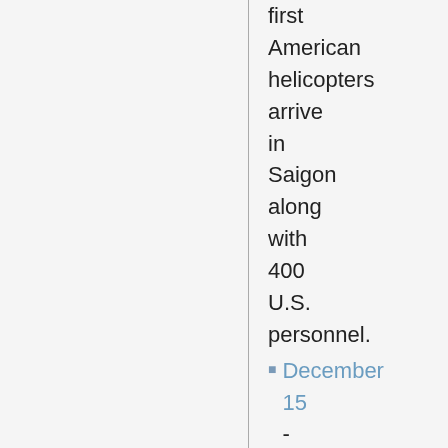first American helicopters arrive in Saigon along with 400 U.S. personnel.
December 15 - An Israeli